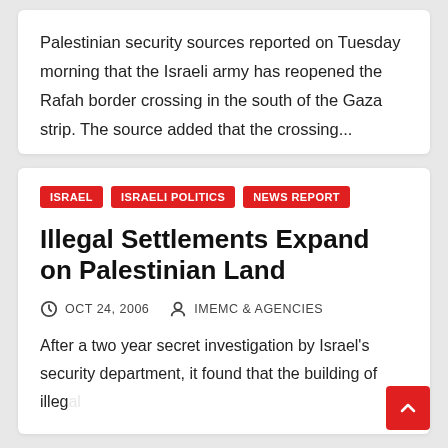Palestinian security sources reported on Tuesday morning that the Israeli army has reopened the Rafah border crossing in the south of the Gaza strip. The source added that the crossing...
ISRAEL
ISRAELI POLITICS
NEWS REPORT
Illegal Settlements Expand on Palestinian Land
OCT 24, 2006   IMEMC & AGENCIES
After a two year secret investigation by Israel's security department, it found that the building of illegal